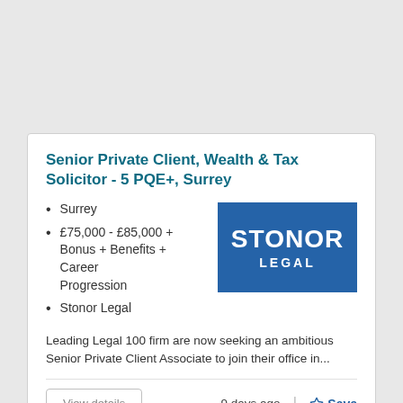Senior Private Client, Wealth & Tax Solicitor - 5 PQE+, Surrey
Surrey
£75,000 - £85,000 + Bonus + Benefits + Career Progression
Stonor Legal
[Figure (logo): Stonor Legal company logo — blue rectangle with white bold text STONOR on top line and LEGAL below]
Leading Legal 100 firm are now seeking an ambitious Senior Private Client Associate to join their office in...